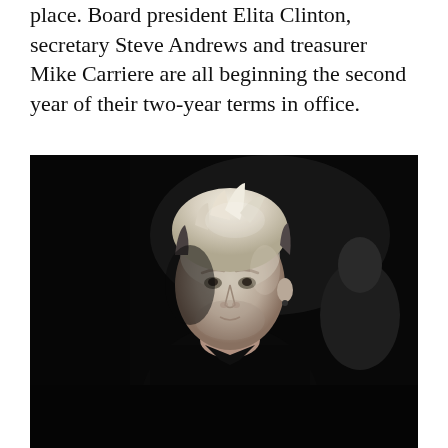place. Board president Elita Clinton, secretary Steve Andrews and treasurer Mike Carriere are all beginning the second year of their two-year terms in office.
[Figure (photo): Black and white photograph of a man with short blonde/white hair wearing a black shirt, looking slightly to the left. The background is very dark. Another person is partially visible behind him on the right.]